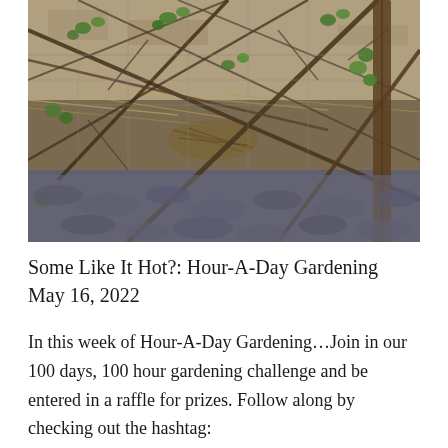[Figure (photo): Outdoor garden photo showing dry branches, sparse green leaves growing through a wire mesh fence or trellis, with rocky and dry soil visible in the foreground and background.]
Some Like It Hot?: Hour-A-Day Gardening
May 16, 2022
In this week of Hour-A-Day Gardening…Join in our 100 days, 100 hour gardening challenge and be entered in a raffle for prizes. Follow along by checking out the hashtag: #100days100hourgardeningchallenge. It Is Too